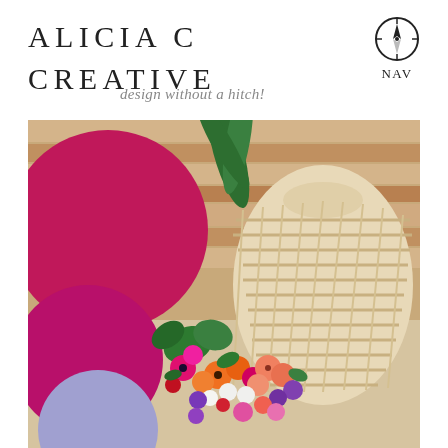ALICIA C
CREATIVE
design without a hitch!
[Figure (logo): Navigation compass icon with NAV label below]
[Figure (photo): Colorful event decoration photo featuring pink and lavender balloons, a wicker lantern, and a vibrant floral arrangement with orange, pink, purple and white flowers, with tropical palm leaves in background on wooden slat wall]